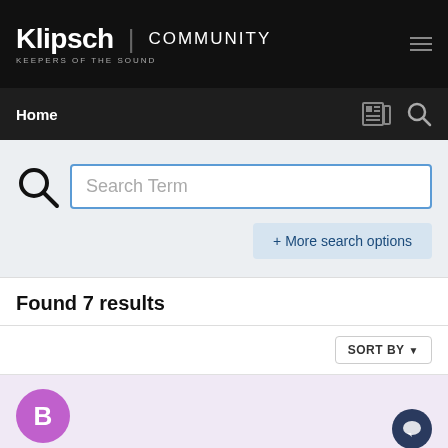Klipsch | COMMUNITY  KEEPERS OF THE SOUND
Home
Search Term
+ More search options
Found 7 results
SORT BY
[Figure (screenshot): Purple avatar circle with letter B and dark navy chat bubble icon]